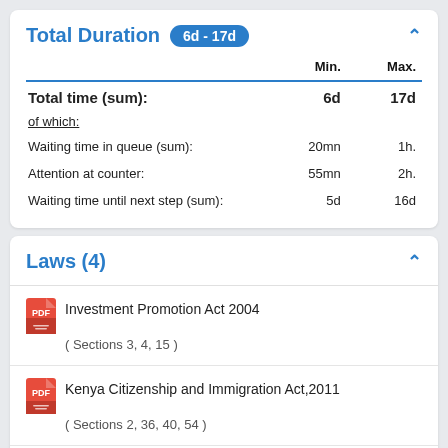Total Duration  6d - 17d
|  | Min. | Max. |
| --- | --- | --- |
| Total time (sum): | 6d | 17d |
| of which: |  |  |
| Waiting time in queue (sum): | 20mn | 1h. |
| Attention at counter: | 55mn | 2h. |
| Waiting time until next step (sum): | 5d | 16d |
Laws (4)
Investment Promotion Act 2004
( Sections 3, 4, 15 )
Kenya Citizenship and Immigration Act,2011
( Sections 2, 36, 40, 54 )
Kenya Citizenship and Immigration Regulations 2012
( Sections 1st schedule, 1st, 9th Schedule, 20, 26, 34, 39, 40, 56,